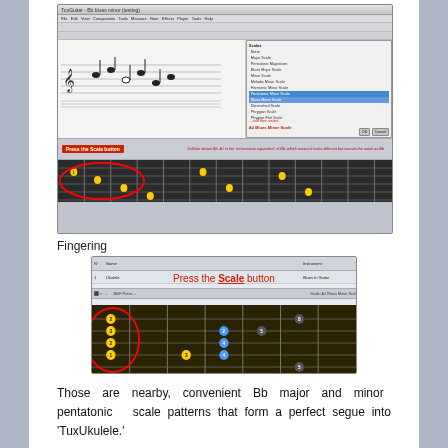[Figure (screenshot): TuxGuitar application screenshot showing a scale selection dialog with 'A# Blues Minor Scale' selected, sheet music, fretboard, and annotation arrows with text '...and then select A# Blues Minor Scale', 'Press the Scale button', and an enharmonic equivalence note.]
Fingering
[Figure (screenshot): TuxGuitar application screenshot showing fingering view with ukulele, 'Press the Scale button' label highlighted in red, and fretboard diagram with fingering numbers.]
Those  are  nearby,  convenient  Bb  major  and  minor  pentatonic  scale patterns that form a perfect segue into 'TuxUkulele.'
On the SMART board
(keep this short, unless everyone has a computer with TuxGuitar on it)